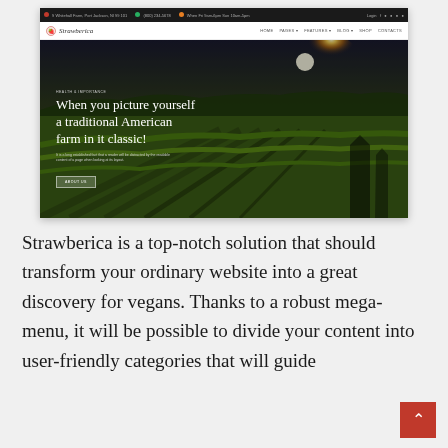[Figure (screenshot): Screenshot of the Strawberica website showing a dark top bar with contact info, a white navigation bar with the Strawberica logo and nav links (Home, Pages, Features, Blog, Shop, Contacts), and a hero section with a vineyard/farm landscape at sunset. The hero text reads 'When you picture yourself a traditional American farm in it classic!' with a small tagline above and descriptive text and 'About Us' button below.]
Strawberica is a top-notch solution that should transform your ordinary website into a great discovery for vegans. Thanks to a robust mega-menu, it will be possible to divide your content into user-friendly categories that will guide